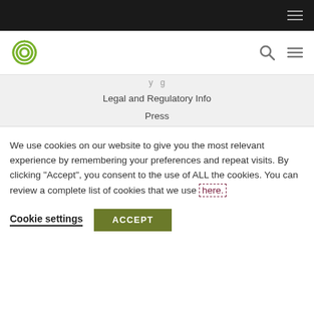[Figure (screenshot): Top black navigation bar with hamburger menu icon (three white lines) on the right]
[Figure (logo): Green spiral/circular logo on left; search icon and hamburger menu icon on right]
Legal and Regulatory Info
Press
We use cookies on our website to give you the most relevant experience by remembering your preferences and repeat visits. By clicking "Accept", you consent to the use of ALL the cookies. You can review a complete list of cookies that we use here.
Cookie settings
ACCEPT